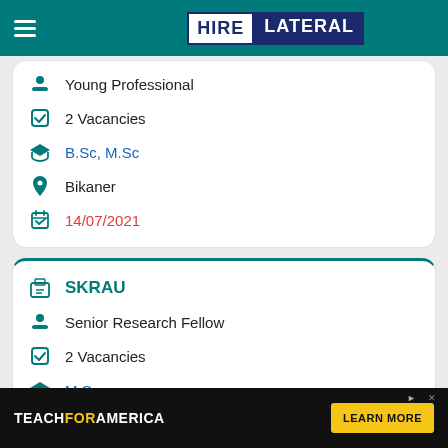HIRE LATERAL
Young Professional
2 Vacancies
B.Sc, M.Sc
Bikaner
14/07/2021
SKRAU
Senior Research Fellow
2 Vacancies
M.Sc
Bikaner
14/07/2021
TEACHFORAMERICA LEARN MORE